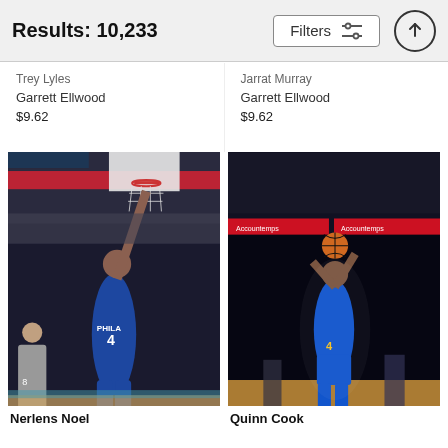Results: 10,233 | Filters
Trey Lyles
Garrett Ellwood
$9.62
Jarrat Murray
Garrett Ellwood
$9.62
[Figure (photo): NBA basketball player #4 from Philadelphia 76ers (PHILA) reaching up toward the basket in a game, crowd in background, arena setting.]
[Figure (photo): NBA basketball player in Golden State Warriors blue uniform shooting a jump shot, arena and crowd in background, Accountemps signage visible.]
Nerlens Noel
Quinn Cook